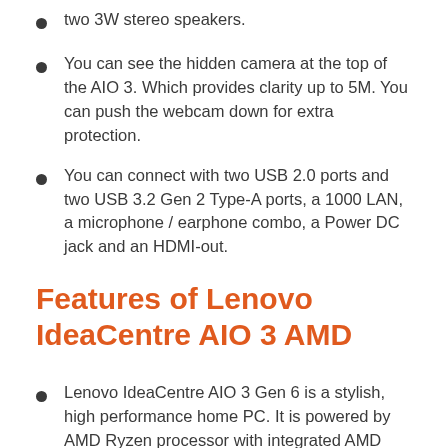two 3W stereo speakers.
You can see the hidden camera at the top of the AIO 3. Which provides clarity up to 5M. You can push the webcam down for extra protection.
You can connect with two USB 2.0 ports and two USB 3.2 Gen 2 Type-A ports, a 1000 LAN, a microphone / earphone combo, a Power DC jack and an HDMI-out.
Features of Lenovo IdeaCentre AIO 3 AMD
Lenovo IdeaCentre AIO 3 Gen 6 is a stylish, high performance home PC. It is powered by AMD Ryzen processor with integrated AMD Radeon graphics. It